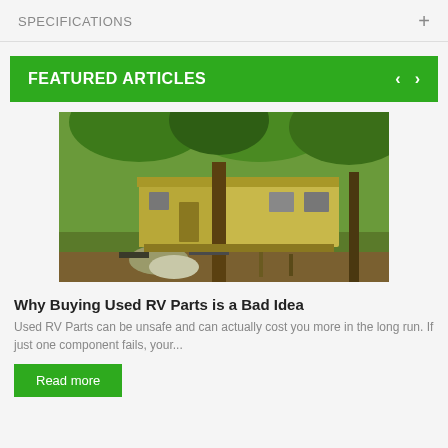SPECIFICATIONS  +
FEATURED ARTICLES
[Figure (photo): Abandoned old yellow RV/trailer in a wooded area with debris and a satellite dish on the ground]
Why Buying Used RV Parts is a Bad Idea
Used RV Parts can be unsafe and can actually cost you more in the long run. If just one component fails, your...
Read more